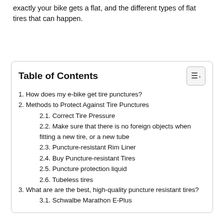exactly your bike gets a flat, and the different types of flat tires that can happen.
Table of Contents
1. How does my e-bike get tire punctures?
2. Methods to Protect Against Tire Punctures
2.1. Correct Tire Pressure
2.2. Make sure that there is no foreign objects when fitting a new tire, or a new tube
2.3. Puncture-resistant Rim Liner
2.4. Buy Puncture-resistant Tires
2.5. Puncture protection liquid
2.6. Tubeless tires
3. What are are the best, high-quality puncture resistant tires?
3.1. Schwalbe Marathon E-Plus